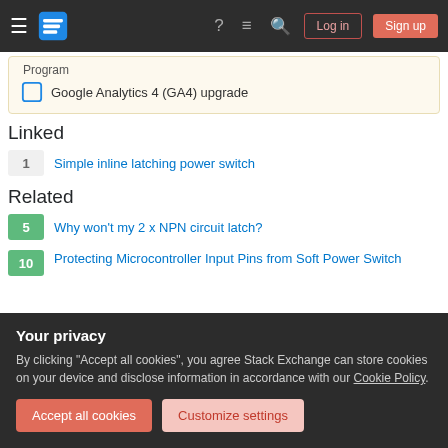Stack Exchange navigation bar with logo, icons, Log in and Sign up buttons
Program
Google Analytics 4 (GA4) upgrade
Linked
1 Simple inline latching power switch
Related
5 Why won't my 2 x NPN circuit latch?
10 Protecting Microcontroller Input Pins from Soft Power Switch
Your privacy
By clicking "Accept all cookies", you agree Stack Exchange can store cookies on your device and disclose information in accordance with our Cookie Policy.
Accept all cookies  Customize settings